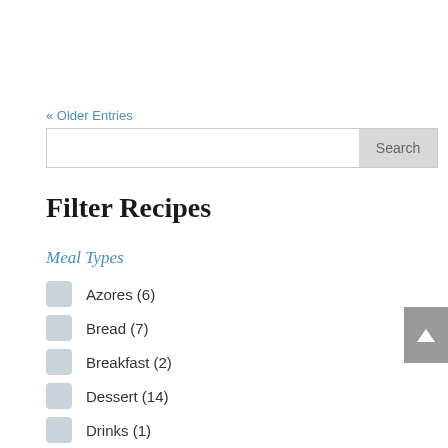« Older Entries
[Figure (screenshot): Search bar with text input and Search button]
Filter Recipes
Meal Types
Azores (6)
Bread (7)
Breakfast (2)
Dessert (14)
Drinks (1)
Madeira (14)